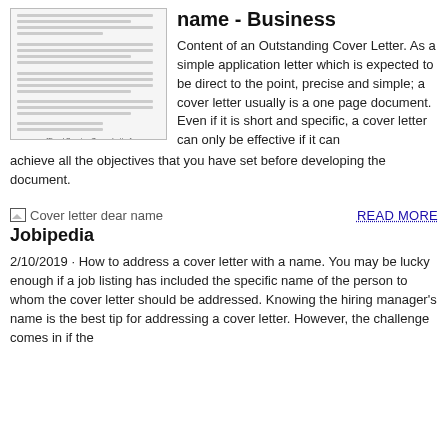[Figure (illustration): Thumbnail image of a food service cover letter document showing lines of text and a caption at the bottom reading '[Food Service Cover Letter]']
name - Business
Content of an Outstanding Cover Letter. As a simple application letter which is expected to be direct to the point, precise and simple; a cover letter usually is a one page document. Even if it is short and specific, a cover letter can only be effective if it can achieve all the objectives that you have set before developing the document.
[Figure (illustration): Small broken image icon with alt text 'Cover letter dear name']
READ MORE
Jobipedia
2/10/2019 · How to address a cover letter with a name. You may be lucky enough if a job listing has included the specific name of the person to whom the cover letter should be addressed. Knowing the hiring manager's name is the best tip for addressing a cover letter. However, the challenge comes in if the